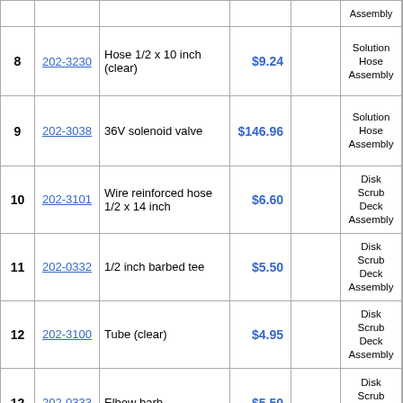| # | Part # | Description | Price | Qty | Category | Availability |
| --- | --- | --- | --- | --- | --- | --- |
| 8 | 202-3230 | Hose 1/2 x 10 inch (clear) | $9.24 |  | Solution Hose Assembly | usually ships 20 d... |
| 9 | 202-3038 | 36V solenoid valve | $146.96 |  | Solution Hose Assembly | usually ships 20 d... |
| 10 | 202-3101 | Wire reinforced hose 1/2 x 14 inch | $6.60 |  | Disk Scrub Deck Assembly | usually ships days... |
| 11 | 202-0332 | 1/2 inch barbed tee | $5.50 |  | Disk Scrub Deck Assembly | ships same... |
| 12 | 202-3100 | Tube (clear) | $4.95 |  | Disk Scrub Deck Assembly | usually ships days... |
| 12 | 202-0333 | Elbow barb | $5.50 |  | Disk Scrub Deck Assembly | usually ships 20 d... |
| 13 | 202-3260 | Sight tube | $73.04 |  | Tank Assembly | usually ships 20 d... |